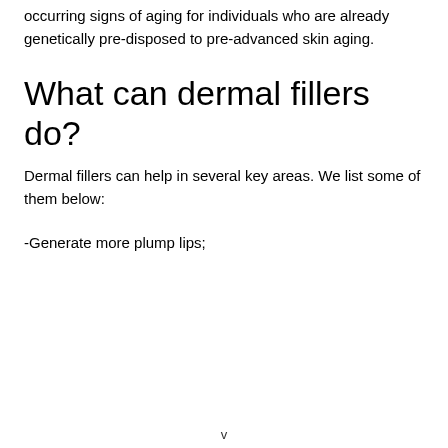occurring signs of aging for individuals who are already genetically pre-disposed to pre-advanced skin aging.
What can dermal fillers do?
Dermal fillers can help in several key areas. We list some of them below:
-Generate more plump lips;
v